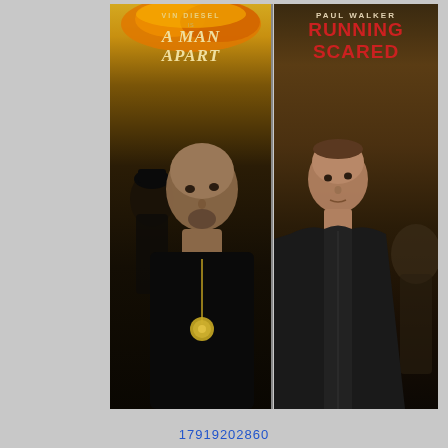[Figure (photo): Two side-by-side movie posters. Left: 'A Man Apart' featuring Vin Diesel as a DEA agent wearing a badge and black shirt, with another figure in the background, golden/fiery tones. Text reads 'VIN DIESEL IS A MAN APART'. Right: 'Running Scared' featuring Paul Walker in a dark jacket, with figures in background, dark golden/brown tones. Text reads 'PAUL WALKER RUNNING SCARED'.]
17919202860